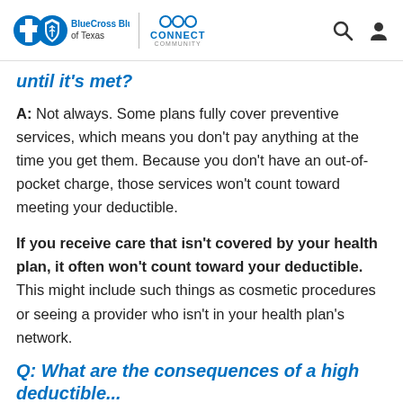BlueCross BlueShield of Texas | CONNECT COMMUNITY
until it's met?
A: Not always. Some plans fully cover preventive services, which means you don't pay anything at the time you get them. Because you don't have an out-of-pocket charge, those services won't count toward meeting your deductible.
If you receive care that isn't covered by your health plan, it often won't count toward your deductible. This might include such things as cosmetic procedures or seeing a provider who isn't in your health plan's network.
Q: What are the consequences of a high deductible...